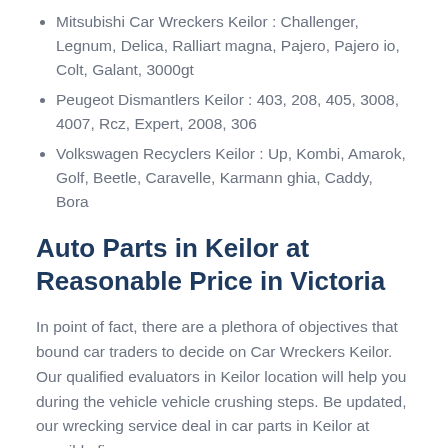Mitsubishi Car Wreckers Keilor : Challenger, Legnum, Delica, Ralliart magna, Pajero, Pajero io, Colt, Galant, 3000gt
Peugeot Dismantlers Keilor : 403, 208, 405, 3008, 4007, Rcz, Expert, 2008, 306
Volkswagen Recyclers Keilor : Up, Kombi, Amarok, Golf, Beetle, Caravelle, Karmann ghia, Caddy, Bora
Auto Parts in Keilor at Reasonable Price in Victoria
In point of fact, there are a plethora of objectives that bound car traders to decide on Car Wreckers Keilor. Our qualified evaluators in Keilor location will help you during the vehicle vehicle crushing steps. Be updated, our wrecking service deal in car parts in Keilor at sensible figures.